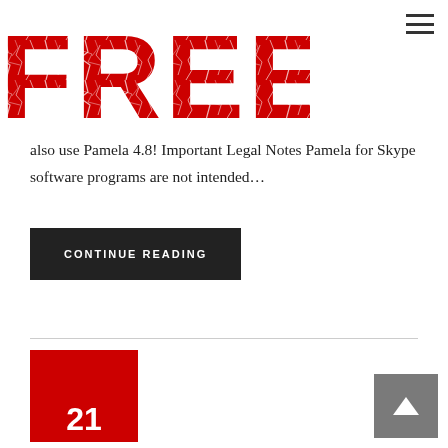[Figure (logo): Large bold red cracked-texture FREE! logo text]
[Figure (illustration): Hamburger menu icon (three horizontal lines) in top right]
also use Pamela 4.8! Important Legal Notes Pamela for Skype software programs are not intended…
CONTINUE READING
[Figure (illustration): Red date box showing the number 21 at the bottom]
[Figure (illustration): Gray scroll-to-top button with upward arrow chevron]